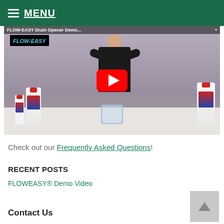MENU
[Figure (screenshot): YouTube video thumbnail showing a man demonstrating FLOWEASY Drain Opener products on a table with bottles and a measuring cup. A YouTube play button is overlaid in the center.]
Check out our Frequently Asked Questions!
RECENT POSTS
FLOWEASY® Demo Video
Contact Us